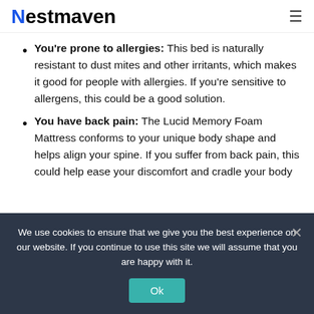Nestmaven
You're prone to allergies: This bed is naturally resistant to dust mites and other irritants, which makes it good for people with allergies. If you're sensitive to allergens, this could be a good solution.
You have back pain: The Lucid Memory Foam Mattress conforms to your unique body shape and helps align your spine. If you suffer from back pain, this could help ease your discomfort and cradle your body
We use cookies to ensure that we give you the best experience on our website. If you continue to use this site we will assume that you are happy with it.